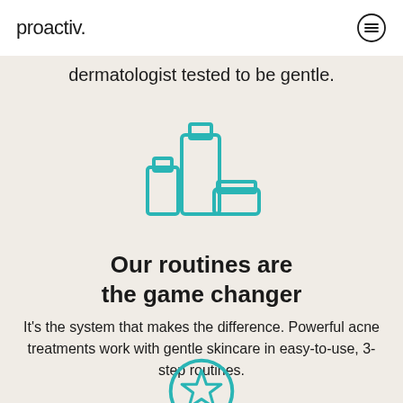proactiv.
dermatologist tested to be gentle.
[Figure (illustration): Line icon of three skincare product containers (tubes and a jar) in teal/cyan color]
Our routines are the game changer
It's the system that makes the difference. Powerful acne treatments work with gentle skincare in easy-to-use, 3-step routines.
[Figure (illustration): Teal circle outline with a star outline icon inside, partially visible at bottom of page]